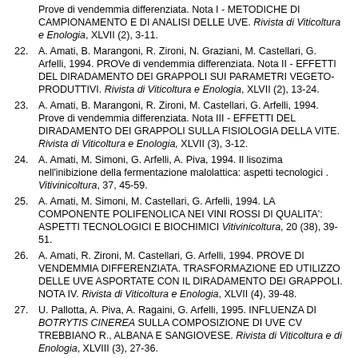21. [continuation] Prove di vendemmia differenziata. Nota I - METODICHE DI CAMPIONAMENTO E DI ANALISI DELLE UVE. Rivista di Viticoltura e Enologia, XLVII (2), 3-11.
22. A. Amati, B. Marangoni, R. Zironi, N. Graziani, M. Castellari, G. Arfelli, 1994. PROVe di vendemmia differenziata. Nota II - EFFETTI DEL DIRADAMENTO DEI GRAPPOLI SUI PARAMETRI VEGETO-PRODUTTIVI. Rivista di Viticoltura e Enologia, XLVII (2), 13-24.
23. A. Amati, B. Marangoni, R. Zironi, M. Castellari, G. Arfelli, 1994. Prove di vendemmia differenziata. Nota III - EFFETTI DEL DIRADAMENTO DEI GRAPPOLI SULLA FISIOLOGIA DELLA VITE. Rivista di Viticoltura e Enologia, XLVII (3), 3-12.
24. A. Amati, M. Simoni, G. Arfelli, A. Piva, 1994. Il lisozima nell'inibizione della fermentazione malolattica: aspetti tecnologici . Vitivinicoltura, 37, 45-59.
25. A. Amati, M. Simoni, M. Castellari, G. Arfelli, 1994. LA COMPONENTE POLIFENOLICA NEI VINI ROSSI DI QUALITA': ASPETTI TECNOLOGICI E BIOCHIMICI Vitivinicoltura, 20 (38), 39-51.
26. A. Amati, R. Zironi, M. Castellari, G. Arfelli, 1994. PROVE DI VENDEMMIA DIFFERENZIATA. TRASFORMAZIONE ED UTILIZZO DELLE UVE ASPORTATE CON IL DIRADAMENTO DEI GRAPPOLI. NOTA IV. Rivista di Viticoltura e Enologia, XLVII (4), 39-48.
27. U. Pallotta, A. Piva, A. Ragaini, G. Arfelli, 1995. INFLUENZA DI BOTRYTIS CINEREA SULLA COMPOSIZIONE DI UVE CV TREBBIANO R., ALBANA E SANGIOVESE. Rivista di Viticoltura e di Enologia, XLVIII (3), 27-36.
28. A. Amati, G. Mazzavillani, R. Zironi, M. Castellari, G. Arfelli, 1995. PROVE DI VENDEMMIA DIFFERENZIATA. EFFETTI DEL DIRADAMENTO DEI GRAPPOLI SULLA COMPOSIZIONE DEI...